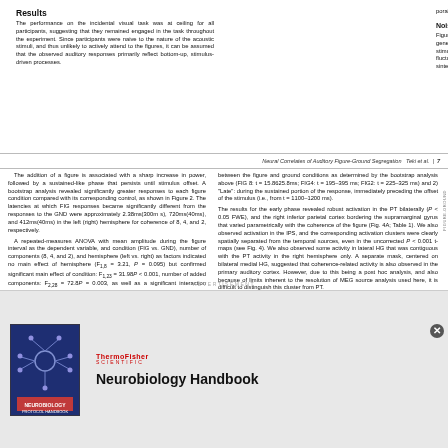Results
The performance on the incidental visual task was at ceiling for all participants, suggesting that they remained engaged in the task throughout the experiment. Since participants were naive to the nature of the acoustic stimuli, and thus unlikely to actively attend to the figures, it can be assumed that the observed auditory responses primarily reflect bottom-up, stimulus-driven processes.
poral coherences associated with only 2 repeating components.
Noise SFG: Evoked Responses
Figure 3 shows group-RMS of stimulus-evoked field for the noise SFG stimuli. The general time course of evoked activity is similar to that observed for the tonal SFG stimuli. The ongoing slow evoked response is characterized by a constant 20 Hz fluctuation of mean evoked power, which follows the rate of the (loud) noise burst sinter spersed between chords.
Neural Correlates of Auditory Figure-Ground Segregation   Teki et al.   |   7
The addition of a figure is associated with a sharp increase in power, followed by a sustained-like phase that persists until stimulus offset. A bootstrap analysis revealed significantly greater responses to each figure condition compared with its corresponding control, as shown in Figure 2. The latencies at which FIG responses became significantly different from the responses to the GND were approximately 2.38ms(300ms), 720ms(40ms), and 412ms(40ms) in the left (right) hemisphere for coherence of 8, 4, and 2, respectively.
A repeated-measures ANOVA with mean amplitude during the figure interval as the dependent variable, and condition (FIG vs. GND), number of components (8, 4, and 2), and hemisphere (left vs. right) as factors indicated no main effect of hemisphere (F1,8 = 3.21, P = 0.095) but confirmed significant main effect of condition: F1,23 = 31.98P < 0.001, number of added components: F2,28 = 72.8P = 0.003, as well as a significant interaction between condition and number of added components: F2,28 = 4.55, P = 0.019 (effect of figure coherence). A series of t tests for each FIG and GND pair (data averaged over hemispheres) confirmed significant differences for all FIG 8 vs. GND 8: t = 5.08 P < 0.001; HG 4 vs. GND 4: t = 3.4 P = 0.004 (FIG 3 vs. GND3: t = 2.86P = 0.012), demonstrating that despite the loud noise interspersed
between the figure and ground conditions as determined by the bootstrap analysis above (FIG 8: t = 15.8625.8ms; FIG4: t = 195–395 ms; FIG2: t = 225–325 ms) and 2) "Late": during the sustained portion of the response, immediately preceding the offset of the stimulus (i.e., from t = 1100–1200 ms).
The results for the early phase revealed robust activation in the PT bilaterally (P < 0.05 FWE), and the right inferior parietal cortex bordering the supramarginal gyrus that varied parametrically with the coherence of the figure (Fig. 4A; Table 1). We also observed activation in the IPS, and the corresponding activation clusters were clearly spatially separated from the temporal sources, even in the uncorrected P < 0.001 t-maps (see Fig. 4). We also observed some activity in lateral HG that was contiguous with the PT activity in the right hemisphere only. A separate mask, centered on bilateral medial HG, suggested that coherence-related activity is also observed in the primary auditory cortex. However, due to this being a post hoc analysis, and also because of limits inherent to the resolution of MEG source analysis used here, it is difficult to distinguish this cluster from PT.
Activations in the late phase also involved PT bilaterally and right inferior parietal cortex (P < 0.05 FWE; small volume-corrected). We also obtained activity in the IPS during both time
Advertisement
[Figure (photo): Book cover of Neurobiology Handbook by ThermoFisher Scientific showing a neuron illustration on a blue/purple background]
ThermoFisher SCIENTIFIC
Neurobiology Handbook